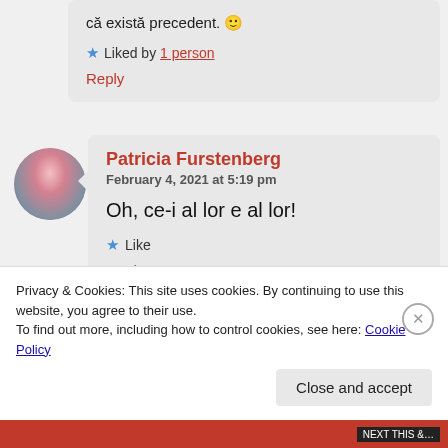că există precedent. 🙂
★ Liked by 1 person
Reply
Patricia Furstenberg
February 4, 2021 at 5:19 pm
Oh, ce-i al lor e al lor!
★ Like
Reply
Privacy & Cookies: This site uses cookies. By continuing to use this website, you agree to their use.
To find out more, including how to control cookies, see here: Cookie Policy
Close and accept